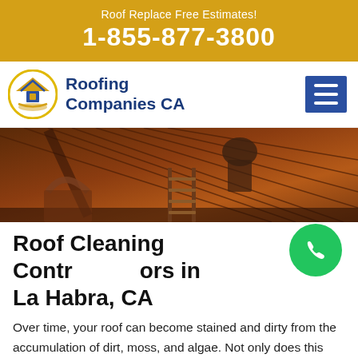Roof Replace Free Estimates! 1-855-877-3800
[Figure (logo): Roofing Companies CA logo with house icon and text]
[Figure (photo): Construction workers on a roof with wooden slats and ladder]
Roof Cleaning Contractors in La Habra, CA
Over time, your roof can become stained and dirty from the accumulation of dirt, moss, and algae. Not only does this make your roof look bad, but it can also lead to damage and leaks. Our Roof Cleaning Contractors in La Habra, CA use a safe